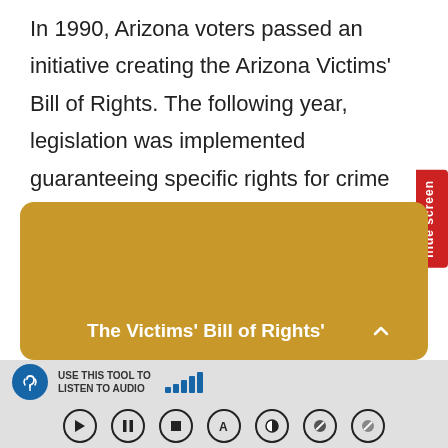In 1990, Arizona voters passed an initiative creating the Arizona Victims' Bill of Rights. The following year, legislation was implemented guaranteeing specific rights for crime victims.
[Figure (screenshot): Gold/yellow rounded panel with white bold text reading 'The Victims' Bill of Rights'' and a scroll-up arrow button in the bottom right corner]
[Figure (screenshot): Audio toolbar with hearing-aid icon, 'USE THIS TOOL TO LISTEN TO AUDIO' label, signal bar icon, and media playback controls (play, pause, stop, A, contrast, and two accessibility icons)]